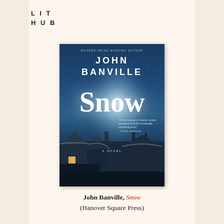LIT
HUB
[Figure (photo): Book cover of 'Snow' by John Banville. Dark blue atmospheric cover showing snow-covered rooftops and buildings at night. Text reads 'BOOKER PRIZE-WINNING AUTHOR', 'JOHN BANVILLE', 'Snow', 'A NOVEL'. A blurb reads 'All the trimmings of a classic mystery, elevated by Banville's immaculate, penetrating prose. —PETER SWANSON']
John Banville, Snow (Hanover Square Press)